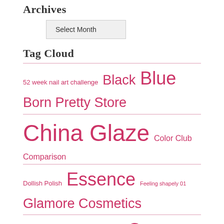Archives
Select Month
Tag Cloud
52 week nail art challenge Black Blue Born Pretty Store China Glaze Color Club Comparison Dollish Polish Essence Feeling shapely 01 Glamore Cosmetics Glitter Gold Gradient Green Grey Hean Holo ILNP Lina Maniology / BundleMonster Morgan Taylor Mundo de Unas Nail Nail art Nude OPI Orange Pink Polish polka dots Pueen Purple Red